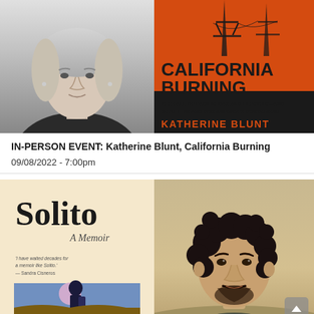[Figure (photo): Black and white portrait photo of Katherine Blunt, a woman with long blonde hair wearing a black top]
[Figure (photo): Book cover of 'California Burning: The Fall of Pacific Gas and Electric — And What It Means for America's Power Grid' by Katherine Blunt. Orange/red cover with power lines silhouette at top.]
IN-PERSON EVENT: Katherine Blunt, California Burning
09/08/2022 - 7:00pm
[Figure (photo): Book cover of 'Solito: A Memoir' — cream/beige background with a silhouette of a child against a colorful landscape. Text includes a quote 'I have waited decades for a memoir like Solito. — Sandra Cisneros']
[Figure (photo): Color portrait photo of a young man with curly dark hair and a beard, photographed outdoors in a natural/desert setting]